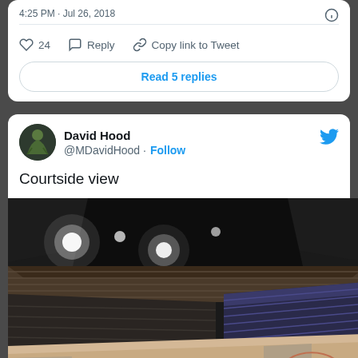4:25 PM · Jul 26, 2018
24  Reply  Copy link to Tweet
Read 5 replies
David Hood @MDavidHood · Follow
Courtside view
[Figure (photo): Interior of an empty arena/stadium showing the basketball/hockey court floor from a low courtside angle, with empty seats visible in the background and arena lighting overhead.]